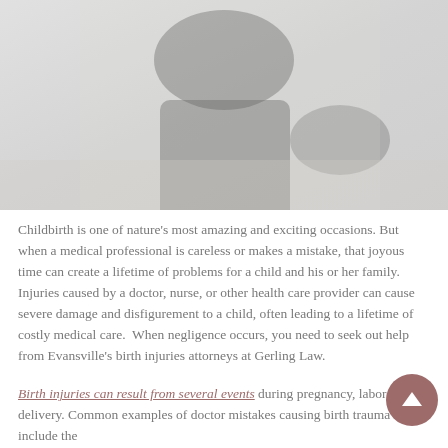[Figure (photo): Person in dark clothing holding a pen or writing instrument, muted/faded gray-toned photograph]
Childbirth is one of nature's most amazing and exciting occasions. But when a medical professional is careless or makes a mistake, that joyous time can create a lifetime of problems for a child and his or her family. Injuries caused by a doctor, nurse, or other health care provider can cause severe damage and disfigurement to a child, often leading to a lifetime of costly medical care.  When negligence occurs, you need to seek out help from Evansville's birth injuries attorneys at Gerling Law.
Birth injuries can result from several events during pregnancy, labor, or delivery. Common examples of doctor mistakes causing birth trauma include the